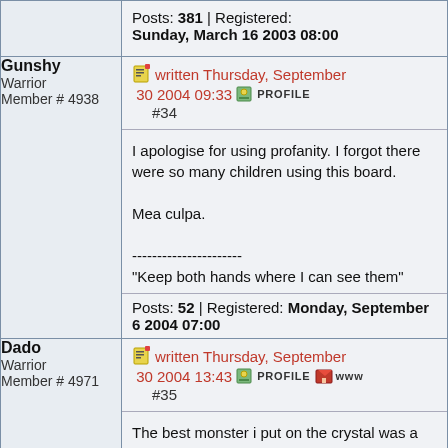| User | Post |
| --- | --- |
| (top row partial) | Posts: 381 | Registered: Sunday, March 16 2003 08:00 |
| Gunshy
Warrior
Member # 4938 | written Thursday, September 30 2004 09:33 PROFILE
#34
I apologise for using profanity. I forgot there were so many children using this board.

Mea culpa.

----------------------
"Keep both hands where I can see them"

Posts: 52 | Registered: Monday, September 6 2004 07:00 |
| Dado
Warrior
Member # 4971 | written Thursday, September 30 2004 13:43 PROFILE WWW
#35
The best monster i put on the crystal was a ogre mage, a giant slug, a nephil archer and a townswomen :D

Posts: 65 | Registered: Wednesday, September 15 2004 07:00 |